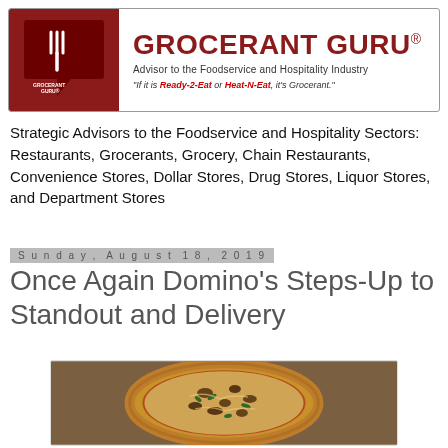[Figure (logo): Grocerant Guru logo banner with red speech bubble/fork icon, bold red text 'GROCERANT GURU®', subtitle 'Advisor to the Foodservice and Hospitality Industry', tagline in italics with red bold 'Ready-2-Eat' and 'Heat-N-Eat']
Strategic Advisors to the Foodservice and Hospitality Sectors: Restaurants, Grocerants, Grocery, Chain Restaurants, Convenience Stores, Dollar Stores, Drug Stores, Liquor Stores, and Department Stores
Sunday, August 18, 2019
Once Again Domino's Steps-Up to Standout and Delivery
[Figure (photo): Photo of a pizza with various toppings including vegetables and cheese, served on a round pan, photographed from above at a slight angle]